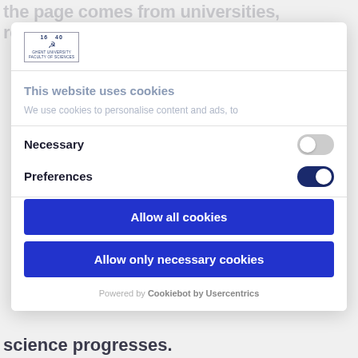the page comes from universities, research
[Figure (logo): University logo with year 1640 and shield emblem]
This website uses cookies
We use cookies to personalise content and ads, to
Necessary
Preferences
Allow all cookies
Allow only necessary cookies
Powered by Cookiebot by Usercentrics
science progresses.